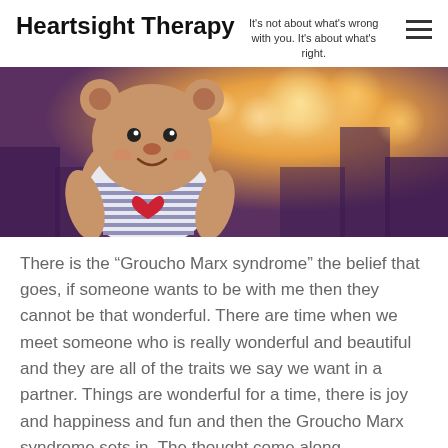Heartsight Therapy — It's not about what's wrong with you. It's about what's right.
[Figure (photo): A stuffed teddy bear wearing a striped shirt with a red heart, photographed against a warm bokeh background of golden sunset lights and blurred buildings.]
There is the “Groucho Marx syndrome” the belief that goes, if someone wants to be with me then they cannot be that wonderful. There are time when we meet someone who is really wonderful and beautiful and they are all of the traits we say we want in a partner. Things are wonderful for a time, there is joy and happiness and fun and then the Groucho Marx syndrome sets in. The thought come along